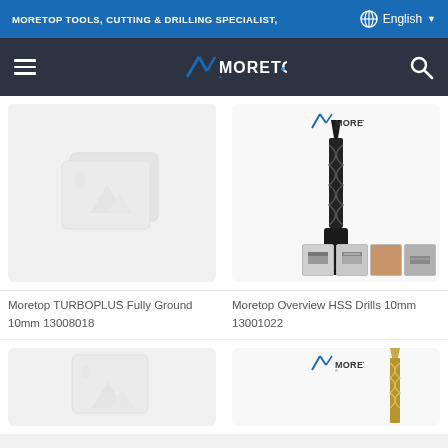MORETOP TOOLS, CUTTING & DRILLING SPECIALIST,   English
[Figure (logo): Moretop logo in dark navigation bar with hamburger menu and search icon]
[Figure (photo): Placeholder image with mountains icon for Moretop TURBOPLUS product]
Moretop TURBOPLUS Fully Ground 10mm 13008018
[Figure (photo): Moretop HSS Drill bit 10mm product photo with material compatibility icons]
Moretop Overview HSS Drills 10mm 13001022
[Figure (photo): Placeholder image partial view bottom left]
[Figure (photo): Moretop drill bit product photo partial view bottom right with logo]